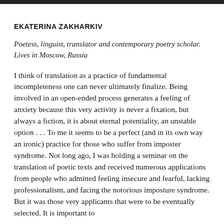EKATERINA ZAKHARKIV
Poetess, linguist, translator and contemporary poetry scholar. Lives in Moscow, Russia
I think of translation as a practice of fundamental incompleteness one can never ultimately finalize. Being involved in an open-ended process generates a feeling of anxiety because this very activity is never a fixation, but always a fiction, it is about eternal potentiality, an unstable option . . . To me it seems to be a perfect (and in its own way an ironic) practice for those who suffer from imposter syndrome. Not long ago, I was holding a seminar on the translation of poetic texts and received numerous applications from people who admitted feeling insecure and fearful, lacking professionalism, and facing the notorious imposture syndrome. But it was those very applicants that were to be eventually selected. It is important to